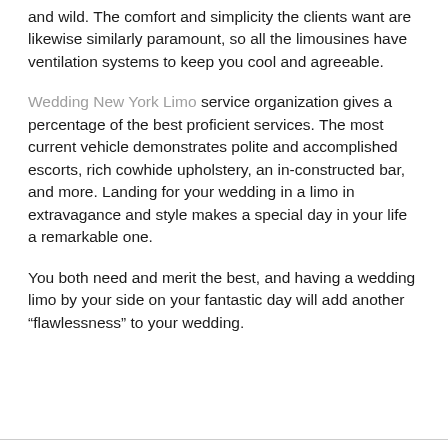and wild. The comfort and simplicity the clients want are likewise similarly paramount, so all the limousines have ventilation systems to keep you cool and agreeable.
Wedding New York Limo service organization gives a percentage of the best proficient services. The most current vehicle demonstrates polite and accomplished escorts, rich cowhide upholstery, an in-constructed bar, and more. Landing for your wedding in a limo in extravagance and style makes a special day in your life a remarkable one.
You both need and merit the best, and having a wedding limo by your side on your fantastic day will add another “flawlessness” to your wedding.